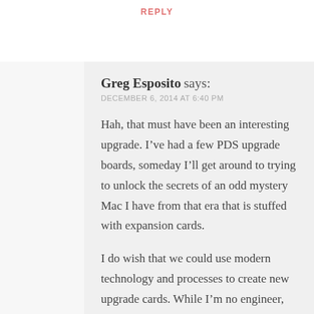REPLY
Greg Esposito says:
DECEMBER 6, 2014 AT 6:40 PM
Hah, that must have been an interesting upgrade. I've had a few PDS upgrade boards, someday I'll get around to trying to unlock the secrets of an odd mystery Mac I have from that era that is stuffed with expansion cards.
I do wish that we could use modern technology and processes to create new upgrade cards. While I'm no engineer, I'd have to imagine the process node improvements could create faster chips with less heat problems. Until a Mac OS